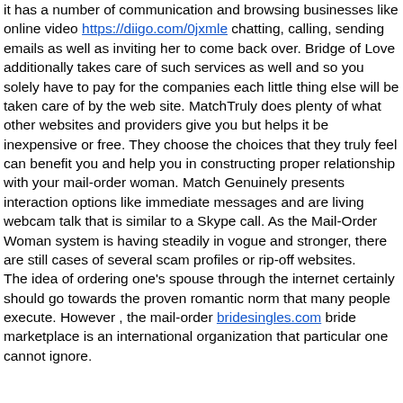it has a number of communication and browsing businesses like online video https://diigo.com/0jxmle chatting, calling, sending emails as well as inviting her to come back over. Bridge of Love additionally takes care of such services as well and so you solely have to pay for the companies each little thing else will be taken care of by the web site. MatchTruly does plenty of what other websites and providers give you but helps it be inexpensive or free. They choose the choices that they truly feel can benefit you and help you in constructing proper relationship with your mail-order woman. Match Genuinely presents interaction options like immediate messages and are living webcam talk that is similar to a Skype call. As the Mail-Order Woman system is having steadily in vogue and stronger, there are still cases of several scam profiles or rip-off websites. The idea of ordering one's spouse through the internet certainly should go towards the proven romantic norm that many people execute. However , the mail-order bridesingles.com bride marketplace is an international organization that particular one cannot ignore.